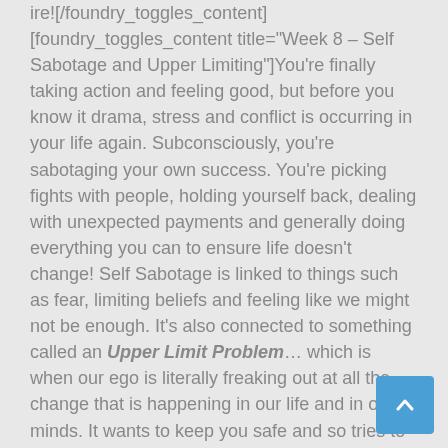ire![/foundry_toggles_content][foundry_toggles_content title="Week 8 – Self Sabotage and Upper Limiting"]You're finally taking action and feeling good, but before you know it drama, stress and conflict is occurring in your life again. Subconsciously, you're sabotaging your own success. You're picking fights with people, holding yourself back, dealing with unexpected payments and generally doing everything you can to ensure life doesn't change! Self Sabotage is linked to things such as fear, limiting beliefs and feeling like we might not be enough. It's also connected to something called an Upper Limit Problem… which is when our ego is literally freaking out at all the change that is happening in our life and in our minds. It wants to keep you safe and so tries to create distractions and drama's to bring everything back to a familiar level for you! This is when you need to hold your course and push through, with total conviction in your heart that you deserve more and can make it happen! [/foundry_toggles_content][foundry_toggles_content